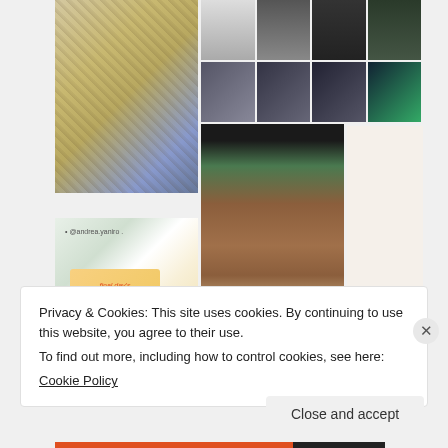[Figure (screenshot): Pinterest image grid widget showing various images including a rabbit drawing, people using laptops, a face-shaped planter with plants, and a teacher ID card. Below the grid is a 'Follow On Pinterest' button with the Pinterest logo.]
Privacy & Cookies: This site uses cookies. By continuing to use this website, you agree to their use.
To find out more, including how to control cookies, see here:
Cookie Policy
Close and accept